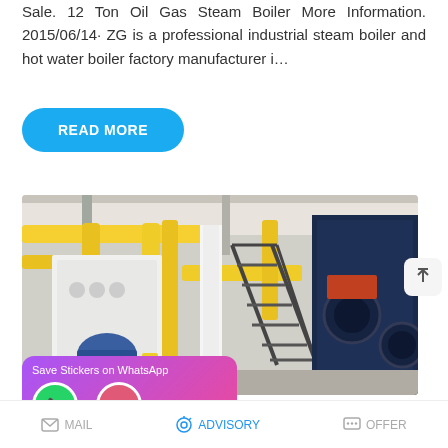Sale. 12 Ton Oil Gas Steam Boiler More Information. 2015/06/14· ZG is a professional industrial steam boiler and hot water boiler factory manufacturer i…
READ MORE
[Figure (photo): Industrial boiler facility interior showing large yellow gas pipes, white boiler units, a metal staircase, and dark blue boiler equipment in a factory setting.]
Save Stickers on WhatsApp
MAIL   ADVISORY   OFFER